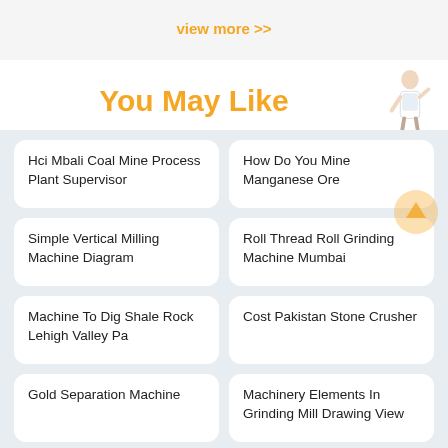view more >>
You May Like
Hci Mbali Coal Mine Process Plant Supervisor
How Do You Mine Manganese Ore
Simple Vertical Milling Machine Diagram
Roll Thread Roll Grinding Machine Mumbai
Machine To Dig Shale Rock Lehigh Valley Pa
Cost Pakistan Stone Crusher
Gold Separation Machine
Machinery Elements In Grinding Mill Drawing View